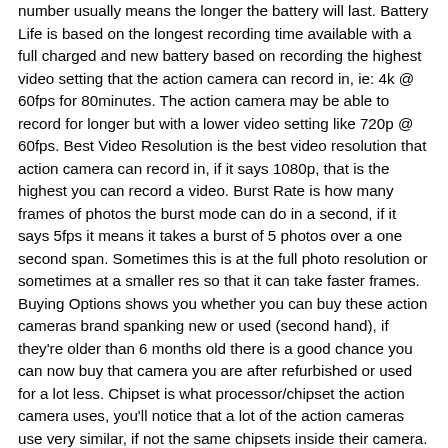number usually means the longer the battery will last. Battery Life is based on the longest recording time available with a full charged and new battery based on recording the highest video setting that the action camera can record in, ie: 4k @ 60fps for 80minutes. The action camera may be able to record for longer but with a lower video setting like 720p @ 60fps. Best Video Resolution is the best video resolution that action camera can record in, if it says 1080p, that is the highest you can record a video. Burst Rate is how many frames of photos the burst mode can do in a second, if it says 5fps it means it takes a burst of 5 photos over a one second span. Sometimes this is at the full photo resolution or sometimes at a smaller res so that it can take faster frames. Buying Options shows you whether you can buy these action cameras brand spanking new or used (second hand), if they're older than 6 months old there is a good chance you can now buy that camera you are after refurbished or used for a lot less. Chipset is what processor/chipset the action camera uses, you'll notice that a lot of the action cameras use very similar, if not the same chipsets inside their camera. Connectivity are for features like ANT+, GPS, G-sensors and other things you can connect too and use. Maybe you want to connect to other things